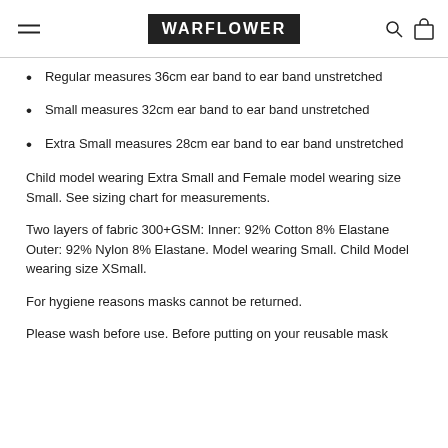WARFLOWER
Regular measures 36cm ear band to ear band unstretched
Small measures 32cm ear band to ear band unstretched
Extra Small measures 28cm ear band to ear band unstretched
Child model wearing Extra Small and Female model wearing size Small. See sizing chart for measurements.
Two layers of fabric 300+GSM: Inner: 92% Cotton 8% Elastane Outer: 92% Nylon 8% Elastane. Model wearing Small. Child Model wearing size XSmall.
For hygiene reasons masks cannot be returned.
Please wash before use. Before putting on your reusable mask